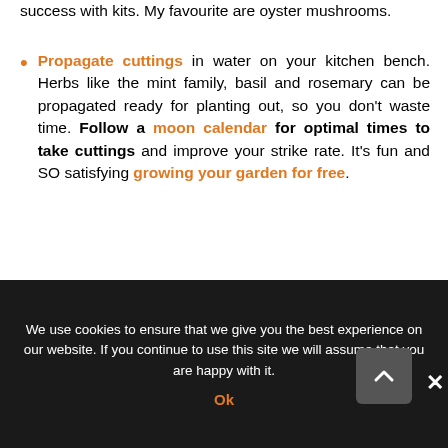success with kits. My favourite are oyster mushrooms.
Propagate cuttings in water on your kitchen bench. Herbs like the mint family, basil and rosemary can be propagated ready for planting out, so you don't waste time. Follow a moon calendar for optimal times to take cuttings and improve your strike rate. It's fun and SO satisfying growing your garden for free.
[Figure (photo): Plant cuttings in water in a clear plastic container, with green leafy stems, showing propagation technique. Pinterest Save button overlay with count of 13.]
We use cookies to ensure that we give you the best experience on our website. If you continue to use this site we will assume that you are happy with it. Ok